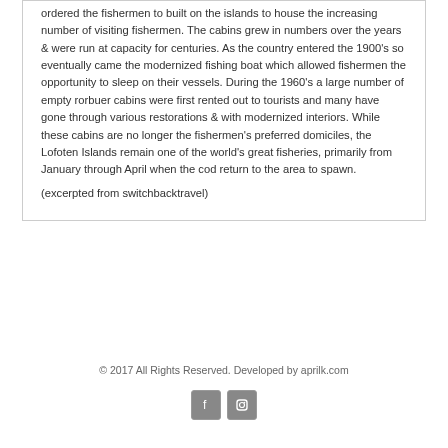ordered the fishermen to built on the islands to house the increasing number of visiting fishermen. The cabins grew in numbers over the years & were run at capacity for centuries. As the country entered the 1900's so eventually came the modernized fishing boat which allowed fishermen the opportunity to sleep on their vessels. During the 1960's a large number of empty rorbuer cabins were first rented out to tourists and many have gone through various restorations & with modernized interiors. While these cabins are no longer the fishermen's preferred domiciles, the Lofoten Islands remain one of the world's great fisheries, primarily from January through April when the cod return to the area to spawn.
(excerpted from switchbacktravel)
© 2017 All Rights Reserved. Developed by aprilk.com